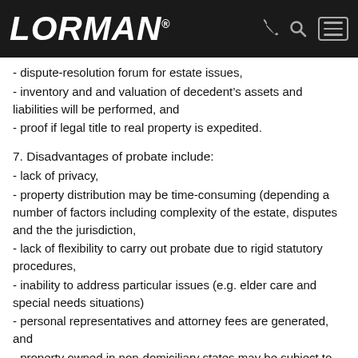LORMAN
- dispute-resolution forum for estate issues,
- inventory and and valuation of decedent’s assets and liabilities will be performed, and
- proof if legal title to real property is expedited.
7. Disadvantages of probate include:
- lack of privacy,
- property distribution may be time-consuming (depending a number of factors including complexity of the estate, disputes and the the jurisdiction,
- lack of flexibility to carry out probate due to rigid statutory procedures,
- inability to address particular issues (e.g. elder care and special needs situations)
- personal representatives and attorney fees are generated, and
- property owned in non-domiciliary states may be subject to